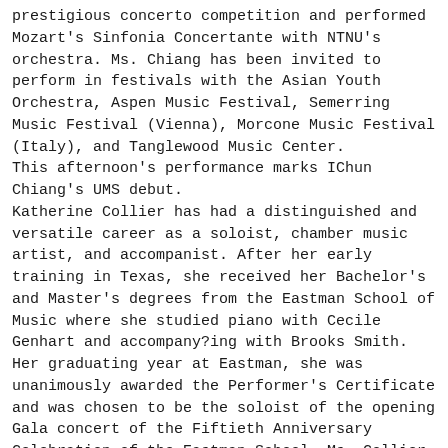prestigious concerto competition and performed Mozart's Sinfonia Concertante with NTNU's orchestra. Ms. Chiang has been invited to perform in festivals with the Asian Youth Orchestra, Aspen Music Festival, Semerring Music Festival (Vienna), Morcone Music Festival (Italy), and Tanglewood Music Center.
This afternoon's performance marks IChun Chiang's UMS debut.
Katherine Collier has had a distinguished and versatile career as a soloist, chamber music artist, and accompanist. After her early training in Texas, she received her Bachelor's and Master's degrees from the Eastman School of Music where she studied piano with Cecile Genhart and accompany?ing with Brooks Smith. Her graduating year at Eastman, she was unanimously awarded the Performer's Certificate and was chosen to be the soloist of the opening Gala concert of the Fiftieth Anniversary Celebration of the Eastman School. Ms. Collier was the firstprize winner of the National Young Artist's Competition and the Cliburn Scholarship Competition, and was the recipient of a Rockefeller Award. She won a Kemper Educational Grant to study at the Royal College of Music in London, England, where she completed postgraduate work. Ms. Collier is an active collaborator with many renowned musicians in this country and abroad, and she also plays chamber music. Further Coll